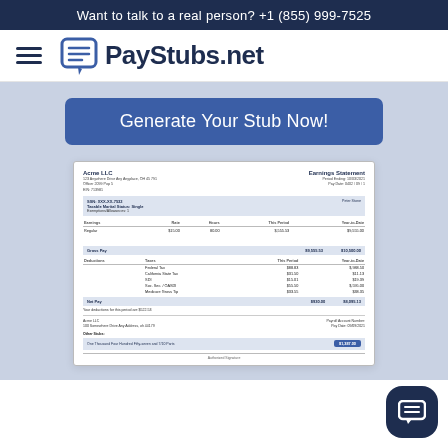Want to talk to a real person? +1 (855) 999-7525
[Figure (logo): PayStubs.net logo with hamburger menu and speech bubble icon]
Generate Your Stub Now!
[Figure (screenshot): Sample pay stub from Acme LLC showing earnings statement with employee info, earnings table, gross pay, deductions, and net pay sections with a check stub at the bottom]
[Figure (other): Chat support bubble icon in bottom right corner]